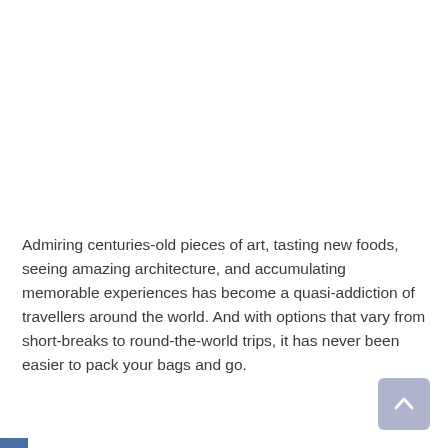Admiring centuries-old pieces of art, tasting new foods, seeing amazing architecture, and accumulating memorable experiences has become a quasi-addiction of travellers around the world. And with options that vary from short-breaks to round-the-world trips, it has never been easier to pack your bags and go.